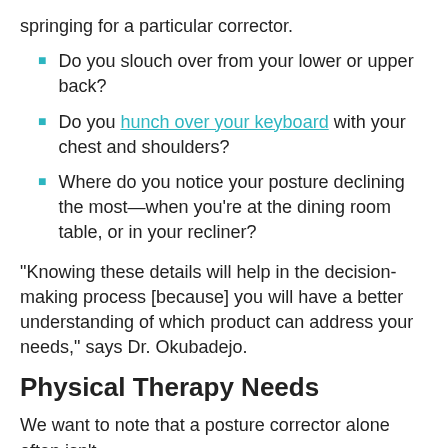springing for a particular corrector.
Do you slouch over from your lower or upper back?
Do you hunch over your keyboard with your chest and shoulders?
Where do you notice your posture declining the most—when you're at the dining room table, or in your recliner?
“Knowing these details will help in the decision-making process [because] you will have a better understanding of which product can address your needs,” says Dr. Okubadejo.
Physical Therapy Needs
We want to note that a posture corrector alone often isn’t